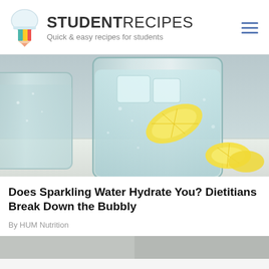STUDENTRECIPES — Quick & easy recipes for students
[Figure (photo): Close-up photo of glasses of sparkling water with ice and lemon slices on a white marble surface]
Does Sparkling Water Hydrate You? Dietitians Break Down the Bubbly
By HUM Nutrition
[Figure (photo): Bottom strip showing partial images of food or drinks]